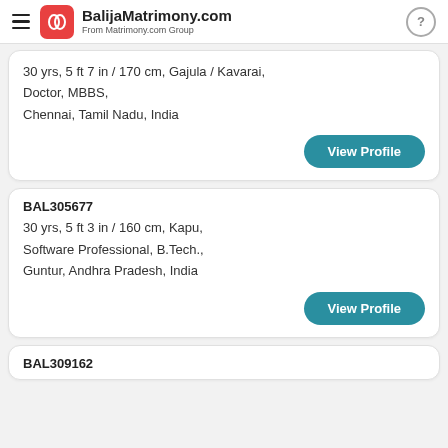BalijaMatrimony.com From Matrimony.com Group
30 yrs, 5 ft 7 in / 170 cm, Gajula / Kavarai, Doctor, MBBS, Chennai, Tamil Nadu, India
View Profile
BAL305677
30 yrs, 5 ft 3 in / 160 cm, Kapu, Software Professional, B.Tech., Guntur, Andhra Pradesh, India
View Profile
BAL309162